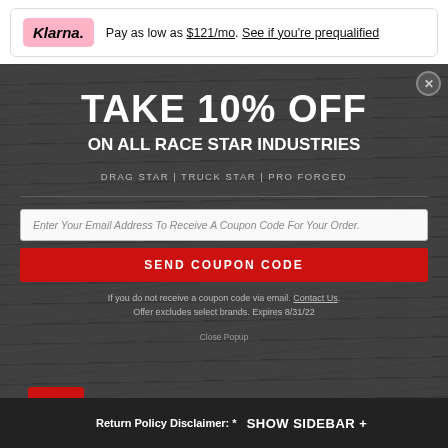Klarna. Pay as low as $121/mo. See if you're prequalified
[Figure (screenshot): Dark wood-textured popup modal offering 10% off on all Race Star Industries products (Drag Star, Truck Star, Pro Forged) with an email input field and Send Coupon Code button]
TAKE 10% OFF
ON ALL RACE STAR INDUSTRIES
DRAG STAR | TRUCK STAR | PRO FORGED
Enter Your Email Address To Receive A Coupon Code For Your Order.
SEND COUPON CODE
If you do not receive a coupon code via email. Contact Us. Offer excludes select brands. Expires 8/31/22
Close Popup
Return Policy Disclaimer: SHOW SIDEBAR +